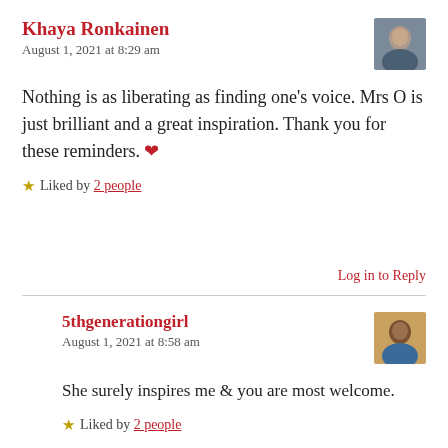Khaya Ronkainen
August 1, 2021 at 8:29 am
Nothing is as liberating as finding one’s voice. Mrs O is just brilliant and a great inspiration. Thank you for these reminders. ❤️
★ Liked by 2 people
Log in to Reply
5thgenerationgirl
August 1, 2021 at 8:58 am
She surely inspires me & you are most welcome.
★ Liked by 2 people